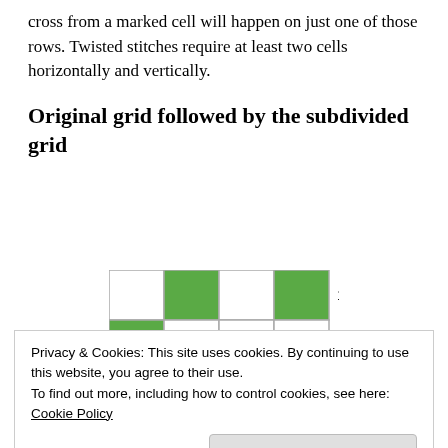cross from a marked cell will happen on just one of those rows. Twisted stitches require at least two cells horizontally and vertically.
Original grid followed by the subdivided grid
[Figure (other): A 4-column by 3-row grid showing cells colored green or white. Row 1 (labeled 10): columns 2 and 4 are green. Row 2 (labeled 9): column 1 is green. Row 3: column 3 is green. Numbers 10 and 9 appear to the right.]
Privacy & Cookies: This site uses cookies. By continuing to use this website, you agree to their use.
To find out more, including how to control cookies, see here: Cookie Policy
Close and accept